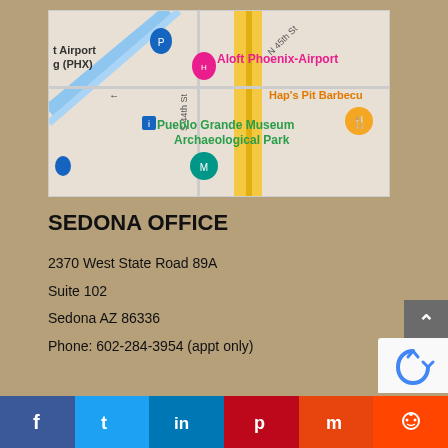[Figure (map): Google Maps screenshot showing area around Aloft Phoenix-Airport, Pueblo Grande Museum Archaeological Park, S 44th St, N 45th St, with road markings and location pins.]
SEDONA OFFICE
2370 West State Road 89A
Suite 102
Sedona AZ 86336
Phone: 602-284-3954 (appt only)